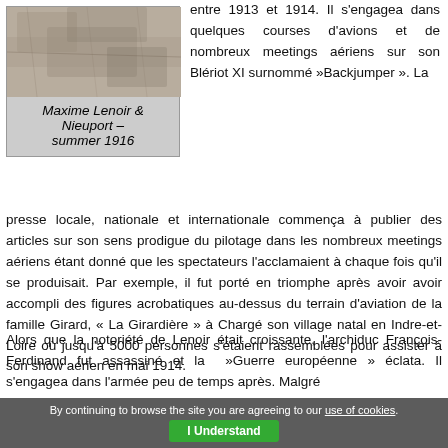[Figure (photo): Black and white aerial or ground photo, grainy texture, appears to be a historical photograph from summer 1916]
Maxime Lenoir & Nieuport – summer 1916
entre 1913 et 1914. Il s'engagea dans quelques courses d'avions et de nombreux meetings aériens sur son Blériot XI surnommé »Backjumper ». La presse locale, nationale et internationale commença à publier des articles sur son sens prodigue du pilotage dans les nombreux meetings aériens étant donné que les spectateurs l'acclamaient à chaque fois qu'il se produisait. Par exemple, il fut porté en triomphe après avoir avoir accompli des figures acrobatiques au-dessus du terrain d'aviation de la famille Girard, « La Girardière » à Chargé son village natal en Indre-et-Loire où jusqu'à 5000 personnes s'étaient rassemblées pour assister à son show aérien en mai 1914.
Alors que la notoriété de Lenoir était croissante, l'archiduc François-Ferdinand fut assassiné et la »Guerre européenne » éclata. Il s'engagea dans l'armée peu de temps après. Malgré
By continuing to browse the site you are agreeing to our use of cookies. I Understand